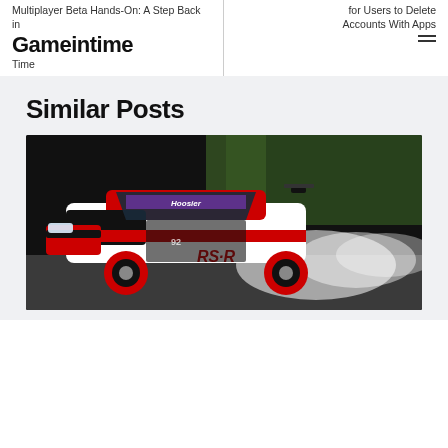Multiplayer Beta Hands-On: A Step Back in Time
for Users to Delete Accounts With Apps
Gameintime
Time
Similar Posts
[Figure (photo): A white and red RS-R branded Mitsubishi Lancer Evolution drift car with Hoosier tire livery, smoking tires on a race track, trees visible in background.]